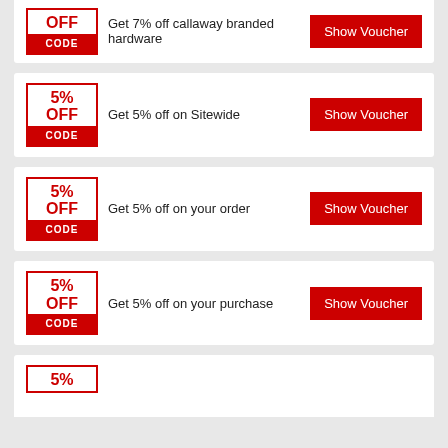OFF CODE — Get 7% off callaway branded hardware — Show Voucher
5% OFF CODE — Get 5% off on Sitewide — Show Voucher
5% OFF CODE — Get 5% off on your order — Show Voucher
5% OFF CODE — Get 5% off on your purchase — Show Voucher
5% OFF CODE — Show Voucher (partial)